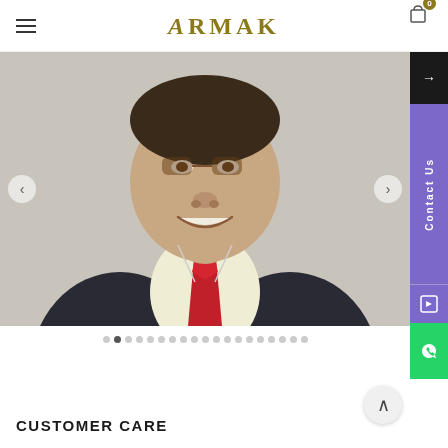ARMAK — navigation header with hamburger menu and cart icon (0)
[Figure (photo): Close-up photo of a man in a dark suit with a red tie and white shirt, smiling slightly, cropped at chest level. Background is grey/white. Shown in an image carousel with left/right arrows.]
[Figure (other): Carousel pagination dots — 19 dots total, with the second dot highlighted/active.]
[Figure (other): Right-side floating panel: black button with arrow (→), purple 'Contact Us' vertical label with icon, green WhatsApp icon button.]
CUSTOMER CARE